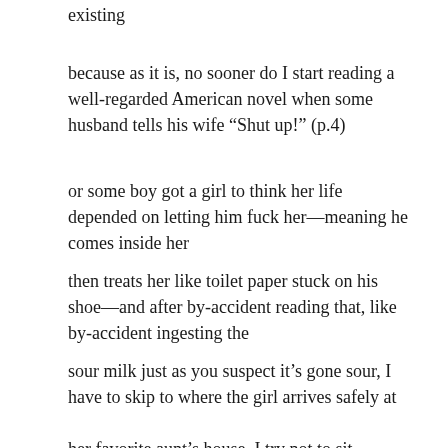existing
because as it is, no sooner do I start reading a well-regarded American novel when some husband tells his wife “Shut up!” (p.4)
or some boy got a girl to think her life depended on letting him fuck her—meaning he comes inside her
then treats her like toilet paper stuck on his shoe—and after by-accident reading that, like by-accident ingesting the
sour milk just as you suspect it’s gone sour, I have to skip to where the girl arrives safely at
her favorite aunt’s house. I try not to sit through brutality. (Which I think is normal.) But then two chapters on, some